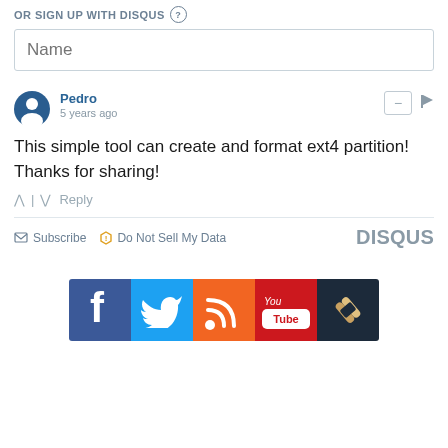OR SIGN UP WITH DISQUS ?
Name
Pedro
5 years ago
This simple tool can create and format ext4 partition! Thanks for sharing!
^ | v  Reply
Subscribe  Do Not Sell My Data  DISQUS
[Figure (illustration): Social media icon bar with Facebook, Twitter, RSS, YouTube, and link icons]